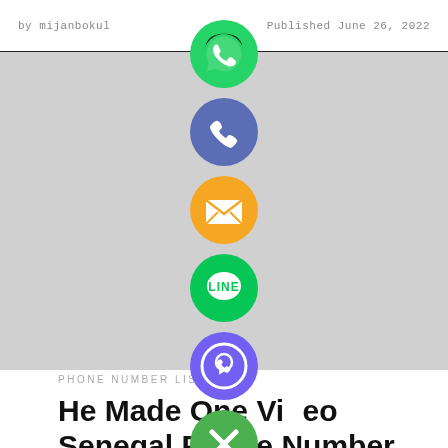by mijanbokul   Published June 26, 2022
[Figure (infographic): Vertical stack of social media sharing icons: WhatsApp (green), Phone/Call (blue-purple), Email (orange), LINE (green), Viber (purple), and a close/X button (green)]
PHONE NUMBER LIST
He Made One Video Senegal Phone Number